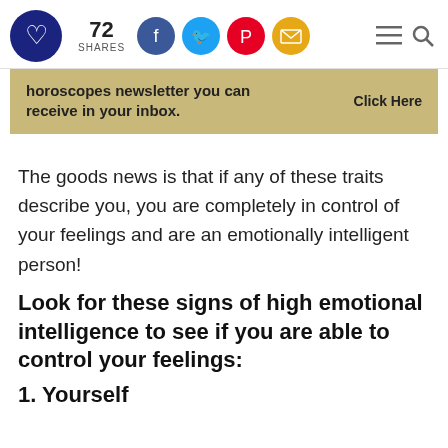72 SHARES [social share icons] [hamburger menu] [search]
[Figure (infographic): Advertisement banner with tan/gold background: 'horoscopes newsletter you can receive in your inbox. Click Here']
The goods news is that if any of these traits describe you, you are completely in control of your feelings and are an emotionally intelligent person!
Look for these signs of high emotional intelligence to see if you are able to control your feelings:
1. Yourself